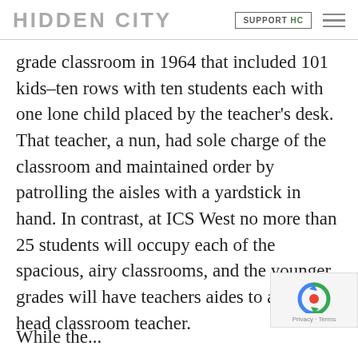HIDDEN CITY | SUPPORT HC
grade classroom in 1964 that included 101 kids–ten rows with ten students each with one lone child placed by the teacher's desk. That teacher, a nun, had sole charge of the classroom and maintained order by patrolling the aisles with a yardstick in hand. In contrast, at ICS West no more than 25 students will occupy each of the spacious, airy classrooms, and the younger grades will have teachers aides to assist a head classroom teacher.
While the...